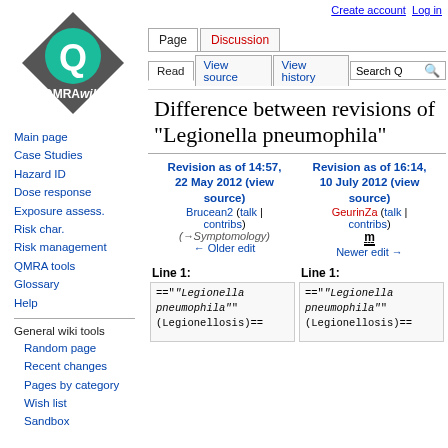Create account  Log in
[Figure (logo): QMRAwiki logo: dark grey diamond shape with teal circle containing a white Q, text 'QMRAwiki' below]
Main page
Case Studies
Hazard ID
Dose response
Exposure assess.
Risk char.
Risk management
QMRA tools
Glossary
Help
General wiki tools
Random page
Recent changes
Pages by category
Wish list
Sandbox
Difference between revisions of "Legionella pneumophila"
Revision as of 14:57, 22 May 2012 (view source)
Brucean2 (talk | contribs)
(→Symptomology)
← Older edit
Revision as of 16:14, 10 July 2012 (view source)
GeurinZa (talk | contribs)
m
Newer edit →
Line 1:
Line 1:
==""'Legionella pneumophila'"" (Legionellosis)==
==""'Legionella pneumophila'"" (Legionellosis)==